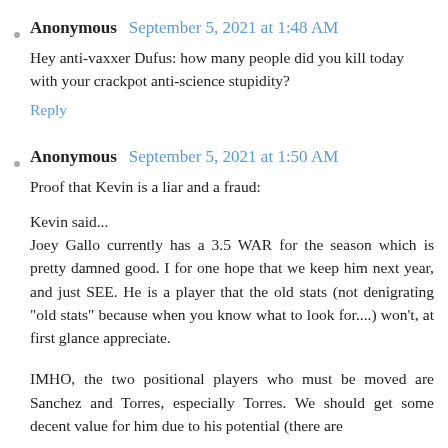Anonymous  September 5, 2021 at 1:48 AM
Hey anti-vaxxer Dufus: how many people did you kill today with your crackpot anti-science stupidity?
Reply
Anonymous  September 5, 2021 at 1:50 AM
Proof that Kevin is a liar and a fraud:
Kevin said...
Joey Gallo currently has a 3.5 WAR for the season which is pretty damned good. I for one hope that we keep him next year, and just SEE. He is a player that the old stats (not denigrating "old stats" because when you know what to look for....) won't, at first glance appreciate.
IMHO, the two positional players who must be moved are Sanchez and Torres, especially Torres. We should get some decent value for him due to his potential (there are